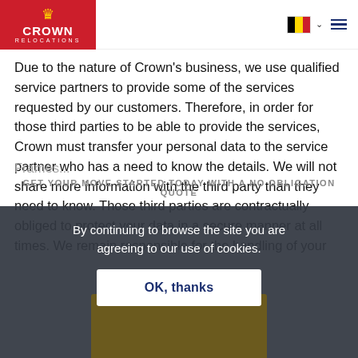[Figure (logo): Crown Relocations logo with red background, crown icon in gold, white text 'CROWN RELOCATIONS']
Due to the nature of Crown's business, we use qualified service partners to provide some of the services requested by our customers. Therefore, in order for those third parties to be able to provide the services, Crown must transfer your personal data to the service partner who has a need to know the details. We will not share more information with the third party than they need to know. Those third parties are contractually obliged to protect your data in a secure manner at all times. We remain responsible for the handling of your personal information by those affiliates and third parties as provided in the EU-U.S. and Swiss-U.S. Privacy Shield
By continuing to browse the site you are agreeing to our use of cookies.
OK, thanks